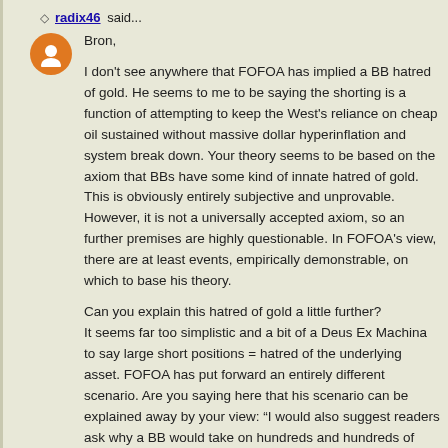radix46 said...
Bron,

I don't see anywhere that FOFOA has implied a BB hatred of gold. He seems to me to be saying the shorting is a function of attempting to keep the West's reliance on cheap oil sustained without massive dollar hyperinflation and system break down. Your theory seems to be based on the axiom that BBs have some kind of innate hatred of gold. This is obviously entirely subjective and unprovable. However, it is not a universally accepted axiom, so any further premises are highly questionable. In FOFOA's view, there are at least events, empirically demonstrable, on which to base his theory.

Can you explain this hatred of gold a little further?
It seems far too simplistic and a bit of a Deus Ex Machina to say large short positions = hatred of the underlying asset. FOFOA has put forward an entirely different scenario. Are you saying here that his scenario can be explained away by your view: “I would also suggest readers ask why a BB would take on hundreds and hundreds of tonnes of short gold positions over time in some attempt to suppress the gold price. You only do this if you have a philosophical hatred of gold.”?